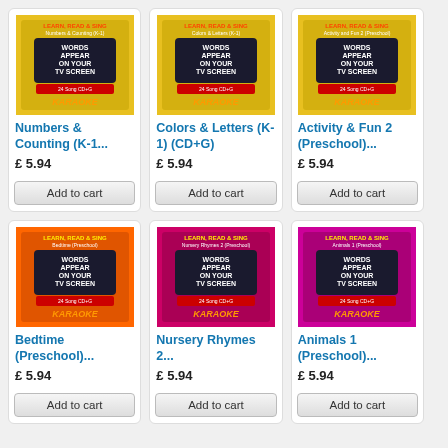[Figure (illustration): Album cover: Learn Read & Sing Numbers & Counting (K-1) Karaoke CD]
Numbers & Counting (K-1...
£5.94
Add to cart
[Figure (illustration): Album cover: Learn Read & Sing Colors & Letters (K-1) (CD+G) Karaoke]
Colors & Letters (K-1) (CD+G)
£5.94
Add to cart
[Figure (illustration): Album cover: Learn Read & Sing Activity and Fun 2 (Preschool) Karaoke]
Activity & Fun 2 (Preschool)...
£5.94
Add to cart
[Figure (illustration): Album cover: Learn Read & Sing Bedtime (Preschool) Karaoke CD]
Bedtime (Preschool)...
£5.94
Add to cart
[Figure (illustration): Album cover: Learn Read & Sing Nursery Rhymes 2 (Preschool) Karaoke]
Nursery Rhymes 2...
£5.94
Add to cart
[Figure (illustration): Album cover: Learn Read & Sing Animals 1 (Preschool) Karaoke CD]
Animals 1 (Preschool)...
£5.94
Add to cart